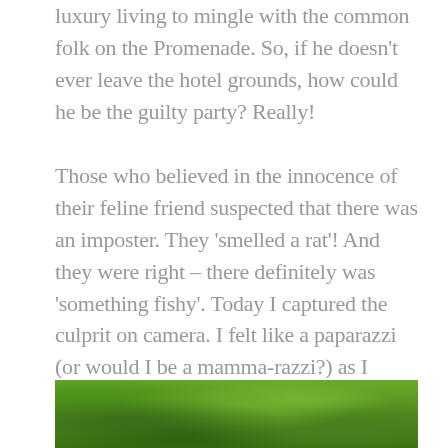luxury living to mingle with the common folk on the Promenade.  So, if he doesn't ever leave the hotel grounds, how could he be the guilty party?  Really!
Those who believed in the innocence of their feline friend suspected that there was an imposter.  They 'smelled a rat'!  And they were right – there definitely was 'something fishy'.  Today I captured the culprit on camera.  I felt like a paparazzi (or would I be a mamma-razzi?) as I stalked the feline imposter as he/she prowled the Promenade.  I managed to capture him/her on camera.  Have a look at the next photo and pay particular attention to the coat and tail.  Those don't belong to Skabenga, do they?
[Figure (photo): A photograph showing dense green foliage and shrubs, appearing to be outdoor vegetation taken at ground level.]